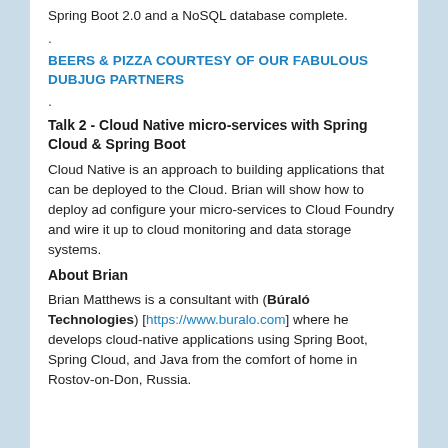Spring Boot 2.0 and a NoSQL database complete.
.
BEERS & PIZZA COURTESY OF OUR FABULOUS DUBJUG PARTNERS
.
Talk 2 - Cloud Native micro-services with Spring Cloud & Spring Boot
Cloud Native is an approach to building applications that can be deployed to the Cloud. Brian will show how to deploy ad configure your micro-services to Cloud Foundry and wire it up to cloud monitoring and data storage systems.
About Brian
Brian Matthews is a consultant with (Búraló Technologies) [https://www.buralo.com] where he develops cloud-native applications using Spring Boot, Spring Cloud, and Java from the comfort of home in Rostov-on-Don, Russia.